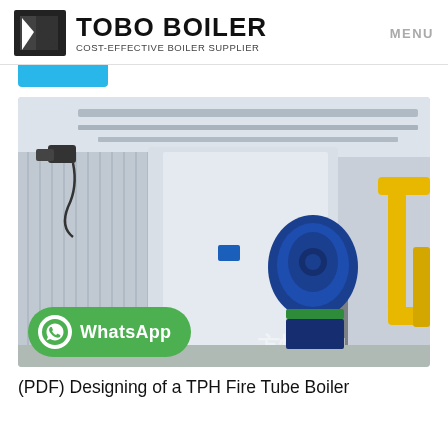[Figure (logo): TOBO BOILER logo with black geometric icon and text 'TOBO BOILER' with subtitle 'COST-EFFECTIVE BOILER SUPPLIER', and MENU text on the right]
[Figure (photo): Industrial boiler room showing a large blue fire tube boiler unit with yellow gas pipes, corrugated metal walls, overhead structural supports, and a WhatsApp button overlay. Chinese text watermark reads 方快锅炉.]
(PDF) Designing of a TPH Fire Tube Boiler